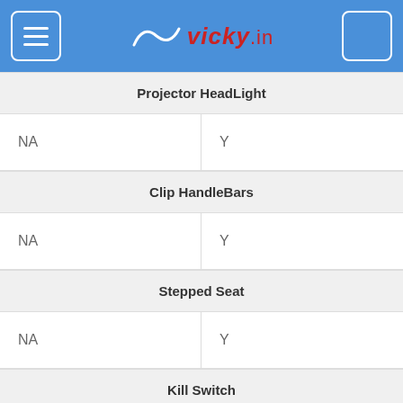vicky.in
| Projector HeadLight |  |
| --- | --- |
| NA | Y |
| Clip HandleBars |  |
| --- | --- |
| NA | Y |
| Stepped Seat |  |
| --- | --- |
| NA | Y |
| Kill Switch |  |
| --- | --- |
| NA | Y |